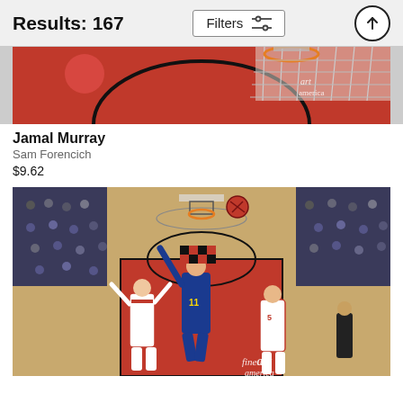Results: 167
[Figure (photo): Partial basketball action photo showing a red arena background with basketball hoop and net visible, Portland Trail Blazers arena. Top portion only visible.]
Jamal Murray
Sam Forencich
$9.62
[Figure (photo): Basketball game photo: A player in a Denver Nuggets blue jersey (#11) going up for a layup or dunk, with Portland Trail Blazers players in white jerseys defending. Arena crowd visible in background. Fine art america watermark visible.]